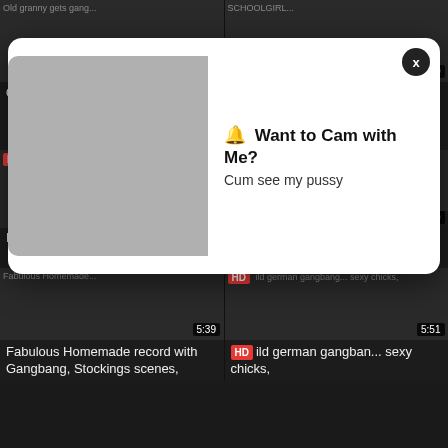[Figure (screenshot): Video thumbnail grid showing adult video website with popup overlay. Top row: 'Old granny gets gang...' (6:16) and 'SCHOOLGIRL...' (4:00). Middle row: 'Lisa Ann gets triple penetrated in a gangbang' (4:19) and 'Exotic Amateur record...' (5:00). Bottom row: 'Fabulous Homemade record with Gangbang, Stockings scenes,' (5:39) and 'Wild german gangbang... sexy chicks,' (5:51). Popup overlay: 'Want to Cam with Me? Cum see my pussy']